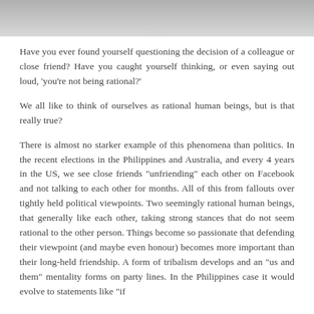[Figure (photo): Blurred photograph at the top of the page, cropped horizontally]
Have you ever found yourself questioning the decision of a colleague or close friend? Have you caught yourself thinking, or even saying out loud, 'you're not being rational?'
We all like to think of ourselves as rational human beings, but is that really true?
There is almost no starker example of this phenomena than politics. In the recent elections in the Philippines and Australia, and every 4 years in the US, we see close friends "unfriending" each other on Facebook and not talking to each other for months. All of this from fallouts over tightly held political viewpoints. Two seemingly rational human beings, that generally like each other, taking strong stances that do not seem rational to the other person. Things become so passionate that defending their viewpoint (and maybe even honour) becomes more important than their long-held friendship. A form of tribalism develops and an "us and them" mentality forms on party lines. In the Philippines case it would evolve to statements like "if